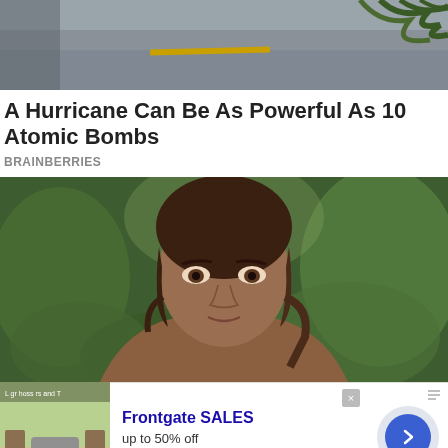[Figure (photo): Top strip photo showing a wet road/parking lot with a yellow stripe and palm fronds in the upper right corner, likely taken during a storm]
A Hurricane Can Be As Powerful As 10 Atomic Bombs
BRAINBERRIES
[Figure (photo): Portrait photo of a woman with curly/wavy dark hair outdoors with green vegetation in the background]
[Figure (photo): Advertisement for Frontgate SALES - up to 50% off, frontgate.com, showing outdoor furniture with a fire pit. Has a close button (x) and a forward arrow navigation button.]